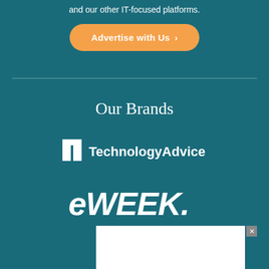and our other IT-focused platforms.
Advertise with Us ›
Our Brands
[Figure (logo): TechnologyAdvice logo — white TA icon with text 'TechnologyAdvice']
[Figure (logo): eWeek logo — white bold italic eWEEK wordmark]
[Figure (other): White advertisement box with close button]